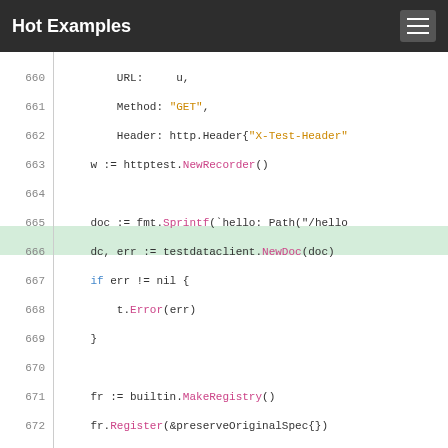Hot Examples
[Figure (screenshot): Code snippet showing Go source code lines 660-676 with syntax highlighting. Line 666 is highlighted in green. Code includes HTTP request setup, httptest.NewRecorder(), fmt.Sprintf, testdataclient.NewDoc, error handling, and routing registry setup.]